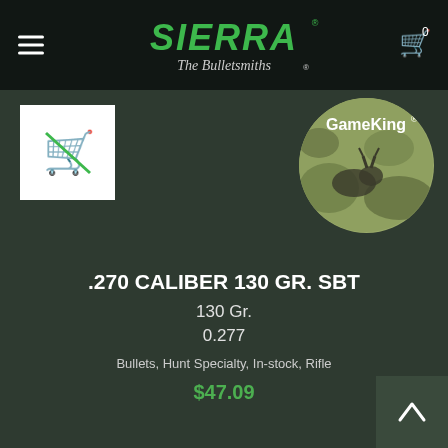[Figure (logo): Sierra Bullets logo with text 'SIERRA The Bulletsmiths' in green on dark background]
[Figure (illustration): White box with green shopping cart icon (crossed out / empty cart placeholder)]
[Figure (illustration): GameKing circular badge/logo with camouflage background]
.270 CALIBER 130 GR. SBT
130 Gr.
0.277
Bullets, Hunt Specialty, In-stock, Rifle
$47.09